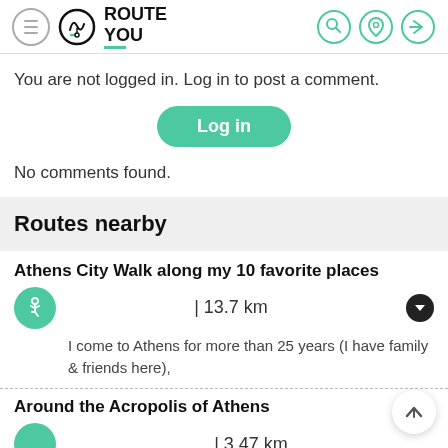[Figure (logo): RouteYou logo with navigation icon and hamburger menu button, plus header icons for search, location and login]
You are not logged in. Log in to post a comment.
Log in
No comments found.
Routes nearby
Athens City Walk along my 10 favorite places
| 13.7 km
I come to Athens for more than 25 years (I have family & friends here),
Around the Acropolis of Athens
| 3.47 km